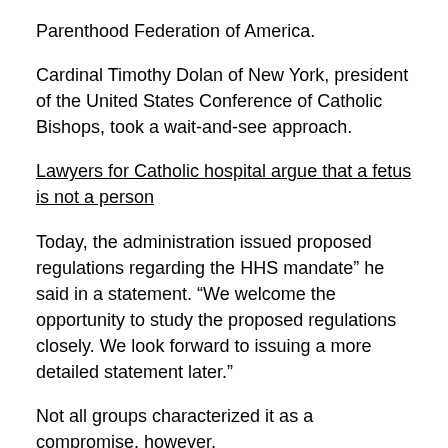Parenthood Federation of America.
Cardinal Timothy Dolan of New York, president of the United States Conference of Catholic Bishops, took a wait-and-see approach.
Lawyers for Catholic hospital argue that a fetus is not a person
Today, the administration issued proposed regulations regarding the HHS mandate” he said in a statement. “We welcome the opportunity to study the proposed regulations closely. We look forward to issuing a more detailed statement later.”
Not all groups characterized it as a compromise, however.
Frank Pavone, National Director of Priests for Life, a